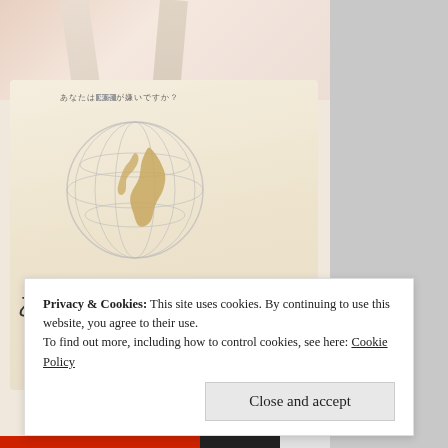[Figure (photo): A person holding a beige canvas tote bag. The bag has Japanese text 'あなたは「東京」が嫌い' printed on it in large characters, along with a small globe with Japan map overlay and smaller Japanese text above the globe. The bag straps are visible at the top.]
Privacy & Cookies: This site uses cookies. By continuing to use this website, you agree to their use.
To find out more, including how to control cookies, see here: Cookie Policy
Close and accept